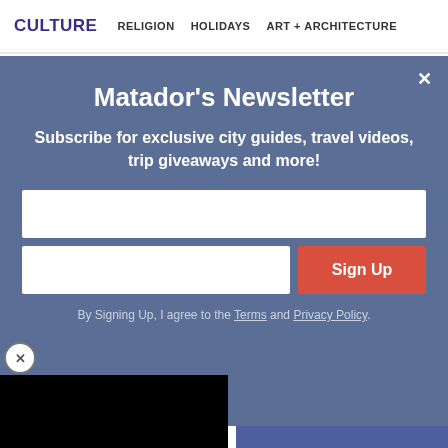CULTURE   RELIGION   HOLIDAYS   ART + ARCHITECTURE
Matador's Newsletter
Subscribe for exclusive city guides, travel videos, trip giveaways and more!
By Signing Up, I agree to the Terms and Privacy Policy.
Aug 4, 2022 — Olivia Harden